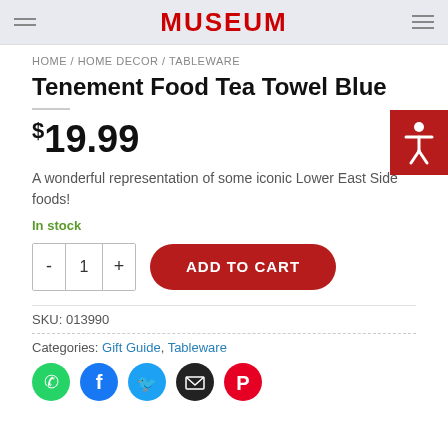MUSEUM
HOME / HOME DECOR / TABLEWARE
Tenement Food Tea Towel Blue
$19.99
A wonderful representation of some iconic Lower East Side foods!
In stock
- 1 + ADD TO CART
SKU: 013990
Categories: Gift Guide, Tableware